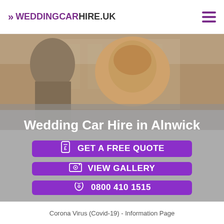WEDDINGCARHIRE.UK
[Figure (photo): Background photo of a smiling blonde woman and a man in a suit, suggesting a wedding couple outdoors near a building]
Wedding Car Hire in Alnwick
GET A FREE QUOTE
VIEW GALLERY
0800 410 1515
Corona Virus (Covid-19) - Information Page